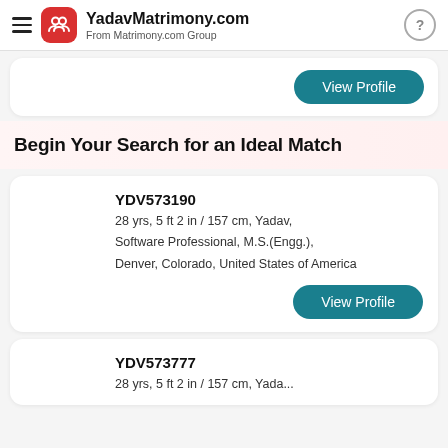YadavMatrimony.com From Matrimony.com Group
View Profile
Begin Your Search for an Ideal Match
YDV573190
28 yrs, 5 ft 2 in / 157 cm, Yadav, Software Professional, M.S.(Engg.), Denver, Colorado, United States of America
View Profile
YDV573777